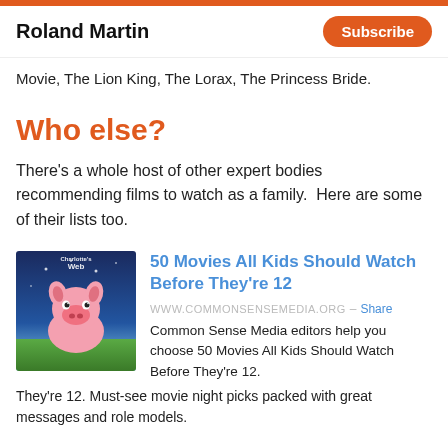Roland Martin | Subscribe
Movie, The Lion King, The Lorax, The Princess Bride.
Who else?
There's a whole host of other expert bodies recommending films to watch as a family.  Here are some of their lists too.
[Figure (illustration): Charlotte's Web movie cover showing a pig with a blue sky background]
50 Movies All Kids Should Watch Before They're 12
WWW.COMMONSENSEMEDIA.ORG – Share
Common Sense Media editors help you choose 50 Movies All Kids Should Watch Before They're 12. Must-see movie night picks packed with great messages and role models.